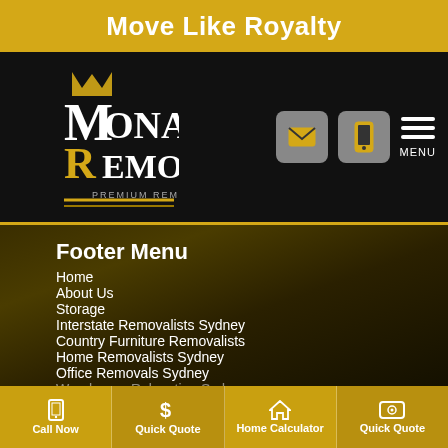Move Like Royalty
[Figure (logo): Monarch Removals Premium Removalists logo with crown and MR monogram on black background with gold accents]
Footer Menu
Home
About Us
Storage
Interstate Removalists Sydney
Country Furniture Removalists
Home Removalists Sydney
Office Removals Sydney
Warehouse Relocation Sydney
Call Now | Quick Quote | Home Calculator | Quick Quote